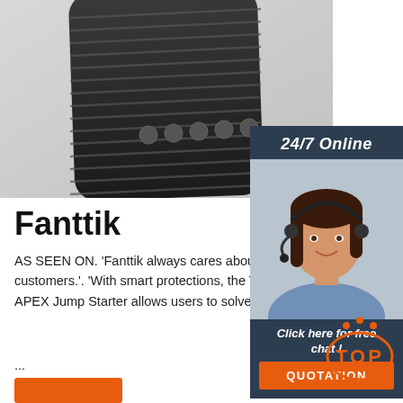[Figure (photo): Black portable jump starter / power bank device with ribbed texture and circular indicator lights, shown at an angle on a light gray background]
Fanttik
AS SEEN ON. 'Fanttik always cares about experience and they continue providing high quality solutions to their customers.'. 'With smart protections, the T8 APEX can be operated safely in any circumstance.'. 'The new generation T8 APEX Jump Starter allows users to solve their vehicle battery problem in 4 easy steps within a ...
[Figure (photo): 24/7 Online support banner with a smiling woman wearing a headset, with a dark navy blue background, 'Click here for free chat!' call to action text, and orange QUOTATION button]
[Figure (logo): TOP badge in orange — circular border with dot crown and the text TOP inside]